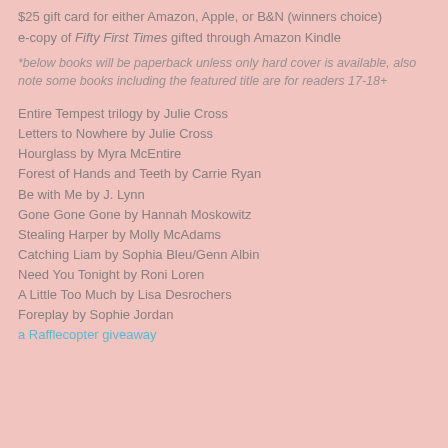$25 gift card for either Amazon, Apple, or B&N (winners choice)
e-copy of Fifty First Times gifted through Amazon Kindle
*below books will be paperback unless only hard cover is available, also note some books including the featured title are for readers 17-18+
Entire Tempest trilogy by Julie Cross
Letters to Nowhere by Julie Cross
Hourglass by Myra McEntire
Forest of Hands and Teeth by Carrie Ryan
Be with Me by J. Lynn
Gone Gone Gone by Hannah Moskowitz
Stealing Harper by Molly McAdams
Catching Liam by Sophia Bleu/Genn Albin
Need You Tonight by Roni Loren
A Little Too Much by Lisa Desrochers
Foreplay by Sophie Jordan
a Rafflecopter giveaway